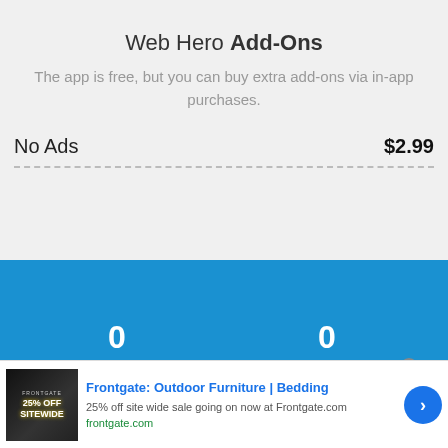Web Hero Add-Ons
The app is free, but you can buy extra add-ons via in-app purchases.
No Ads   $2.99
[Figure (screenshot): Blue section with two counter displays showing 0 and 0]
[Figure (screenshot): Advertisement banner: Frontgate Outdoor Furniture | Bedding — 25% off site wide sale going on now at Frontgate.com — frontgate.com]